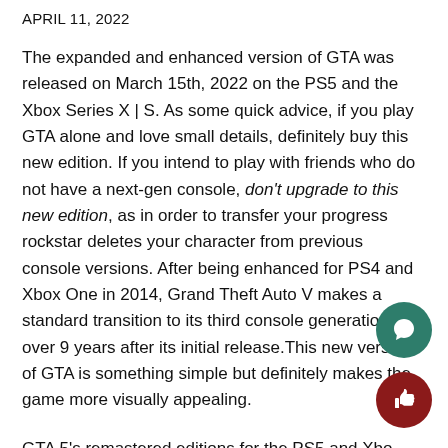APRIL 11, 2022
The expanded and enhanced version of GTA was released on March 15th, 2022 on the PS5 and the Xbox Series X | S. As some quick advice, if you play GTA alone and love small details, definitely buy this new edition. If you intend to play with friends who do not have a next-gen console, don't upgrade to this new edition, as in order to transfer your progress rockstar deletes your character from previous console versions. After being enhanced for PS4 and Xbox One in 2014, Grand Theft Auto V makes a standard transition to its third console generation, over 9 years after its initial release.This new version of GTA is something simple but definitely makes the game more visually appealing.
GTA 5's remastered editions for the PS5 and Xbox Series X|S include three new graphical modes,